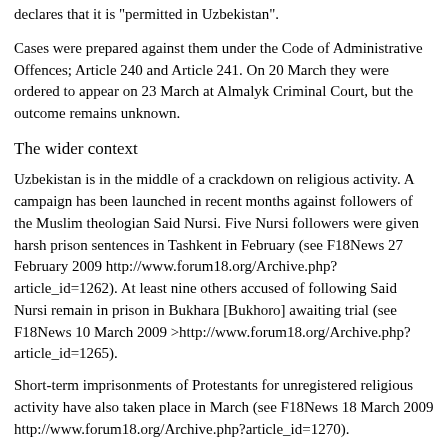declares that it is "permitted in Uzbekistan".
Cases were prepared against them under the Code of Administrative Offences; Article 240 and Article 241. On 20 March they were ordered to appear on 23 March at Almalyk Criminal Court, but the outcome remains unknown.
The wider context
Uzbekistan is in the middle of a crackdown on religious activity. A campaign has been launched in recent months against followers of the Muslim theologian Said Nursi. Five Nursi followers were given harsh prison sentences in Tashkent in February (see F18News 27 February 2009 http://www.forum18.org/Archive.php?article_id=1262). At least nine others accused of following Said Nursi remain in prison in Bukhara [Bukhoro] awaiting trial (see F18News 10 March 2009 >http://www.forum18.org/Archive.php?article_id=1265).
Short-term imprisonments of Protestants for unregistered religious activity have also taken place in March (see F18News 18 March 2009 http://www.forum18.org/Archive.php?article_id=1270).
Uzbekistan also continues to raid, prosecute and fine people, in different parts of the country, for possessing and distributing